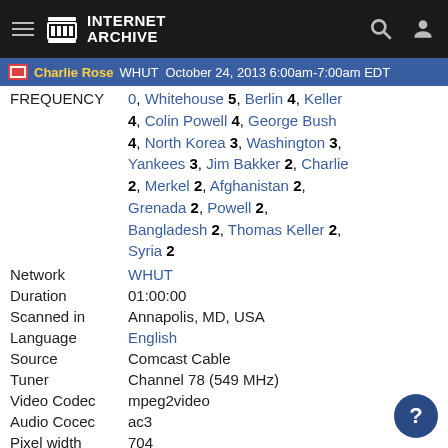Internet Archive
Charlie Rose WHUT October 24, 2013 6:00am-7:00am EDT
FREQUENCY 0, Whitehouse 5, Berlin 4, Keller 4, Colin Powell 4, George Bush 4, North Korea 3, Washington 3, Yankees 3, Jim Bakker 2, Charlie 2, Merkel 2, Afghanistan 2, Grenada 2, Powell 2, Bangladesh 2, Thomas Keller 2, Syria 2
Network WHUT
Duration 01:00:00
Scanned in Annapolis, MD, USA
Language English
Source Comcast Cable
Tuner Channel 78 (549 MHz)
Video Codec mpeg2video
Audio Cocec ac3
Pixel width 704
Pixel height 480